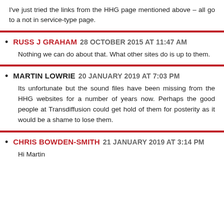I've just tried the links from the HHG page mentioned above – all go to a not in service-type page.
RUSS J GRAHAM 28 OCTOBER 2015 AT 11:47 AM
Nothing we can do about that. What other sites do is up to them.
MARTIN LOWRIE 20 JANUARY 2019 AT 7:03 PM
Its unfortunate but the sound files have been missing from the HHG websites for a number of years now. Perhaps the good people at Transdiffusion could get hold of them for posterity as it would be a shame to lose them.
CHRIS BOWDEN-SMITH 21 JANUARY 2019 AT 3:14 PM
Hi Martin